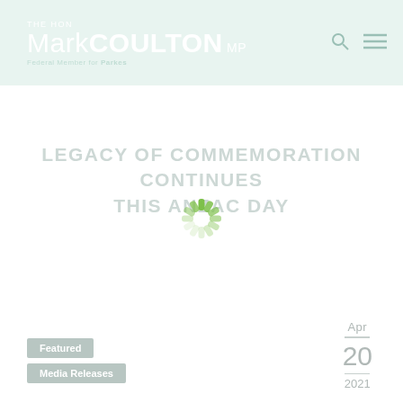THE HON Mark COULTON MP Federal Member for Parkes
LEGACY OF COMMEMORATION CONTINUES THIS ANZAC DAY
[Figure (other): Loading spinner animation overlay on title area]
Featured
Media Releases
Apr 20 2021